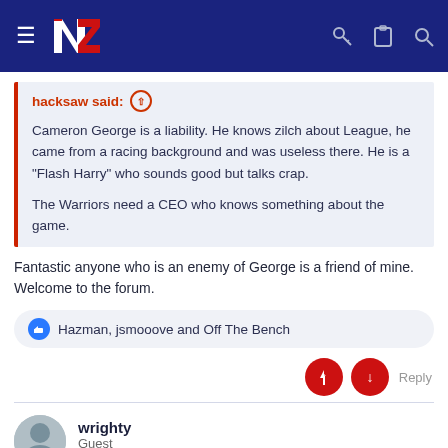Warriors Forum — Navigation header with logo
hacksaw said: ↑

Cameron George is a liability. He knows zilch about League, he came from a racing background and was useless there. He is a "Flash Harry" who sounds good but talks crap.

The Warriors need a CEO who knows something about the game.
Fantastic anyone who is an enemy of George is a friend of mine. Welcome to the forum.
👍 Hazman, jsmooove and Off The Bench
wrighty
Guest